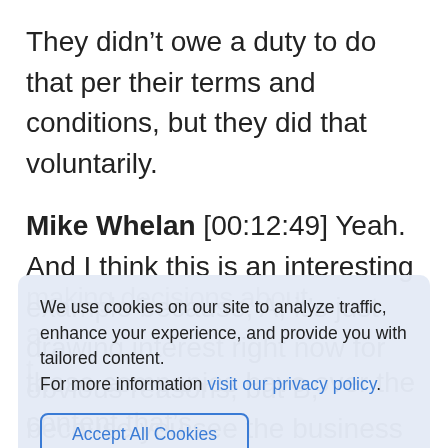They didn't owe a duty to do that per their terms and conditions, but they did that voluntarily.
Mike Whelan [00:12:49] Yeah. And I think this is an interesting example because, A, it's just drawing interest right now for obvious reasons, but B, because you see the business
[Figure (screenshot): Cookie consent banner overlay reading: 'We use cookies on our site to analyze traffic, enhance your experience, and provide you with tailored content. For more information visit our privacy policy.' with an 'Accept All Cookies' button.]
these companies have over the content that's